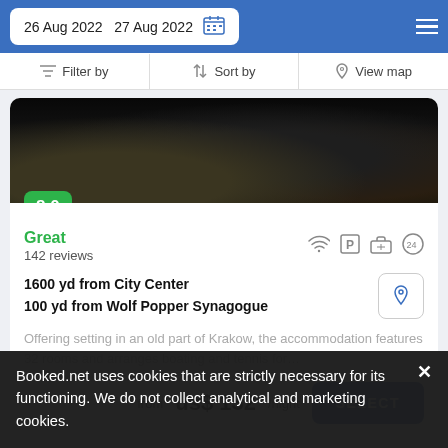26 Aug 2022   27 Aug 2022
Filter by   Sort by   View map
[Figure (photo): Hotel room interior photo, dark tones with furniture]
8.0
Great
142 reviews
1600 yd from City Center
100 yd from Wolf Popper Synagogue
Offering setting in an old part of Krakow, the accommodation features 32 rooms and arranges boating and tennis for…
from us$ 132/night   SELECT
Booked.net uses cookies that are strictly necessary for its functioning. We do not collect analytical and marketing cookies.